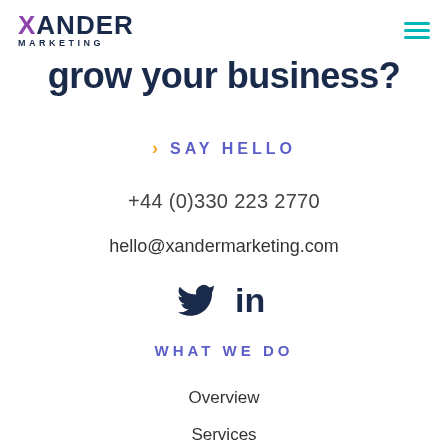[Figure (logo): Xander Marketing logo with purple X and dark blue ANDER text, with MARKETING in small caps underneath]
grow your business?
› SAY HELLO
+44 (0)330 223 2770
hello@xandermarketing.com
[Figure (illustration): Twitter bird icon and LinkedIn 'in' icon in dark navy color]
WHAT WE DO
Overview
Services